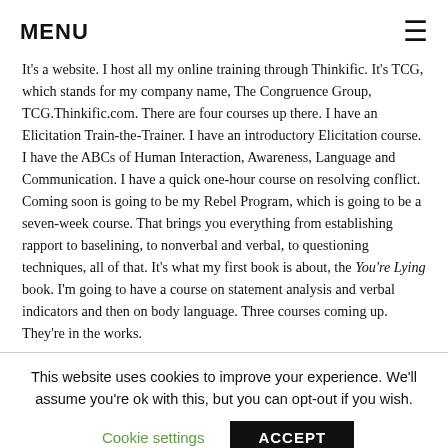MENU
It's a website. I host all my online training through Thinkific. It's TCG, which stands for my company name, The Congruence Group, TCG.Thinkific.com. There are four courses up there. I have an Elicitation Train-the-Trainer. I have an introductory Elicitation course. I have the ABCs of Human Interaction, Awareness, Language and Communication. I have a quick one-hour course on resolving conflict. Coming soon is going to be my Rebel Program, which is going to be a seven-week course. That brings you everything from establishing rapport to baselining, to nonverbal and verbal, to questioning techniques, all of that. It's what my first book is about, the You're Lying book. I'm going to have a course on statement analysis and verbal indicators and then on body language. Three courses coming up. They're in the works.
This website uses cookies to improve your experience. We'll assume you're ok with this, but you can opt-out if you wish.
Cookie settings    ACCEPT